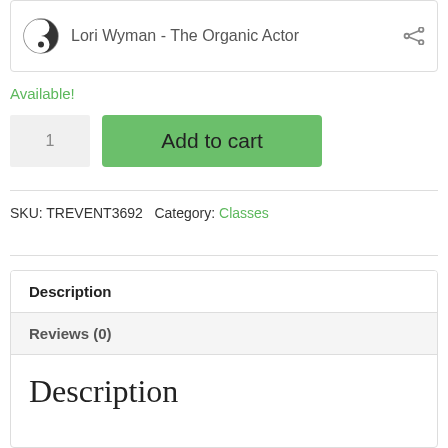[Figure (logo): Yin-yang logo circle icon with text 'Lori Wyman - The Organic Actor' and a share icon]
Available!
1
Add to cart
SKU: TREVENT3692  Category: Classes
Description
Reviews (0)
Description